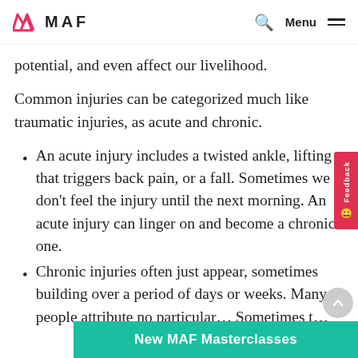MAF — Menu
potential, and even affect our livelihood.
Common injuries can be categorized much like traumatic injuries, as acute and chronic.
An acute injury includes a twisted ankle, lifting that triggers back pain, or a fall. Sometimes we don't feel the injury until the next morning. An acute injury can linger on and become a chronic one.
Chronic injuries often just appear, sometimes building over a period of days or weeks. Many people attribute no particular... Sometimes t...